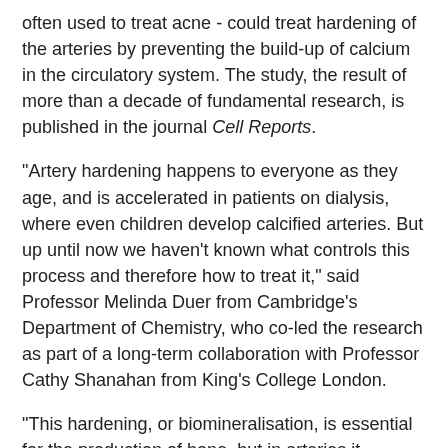often used to treat acne - could treat hardening of the arteries by preventing the build-up of calcium in the circulatory system. The study, the result of more than a decade of fundamental research, is published in the journal Cell Reports.
"Artery hardening happens to everyone as they age, and is accelerated in patients on dialysis, where even children develop calcified arteries. But up until now we haven't known what controls this process and therefore how to treat it," said Professor Melinda Duer from Cambridge's Department of Chemistry, who co-led the research as part of a long-term collaboration with Professor Cathy Shanahan from King's College London.
"This hardening, or biomineralisation, is essential for the production of bone, but in arteries it underlies a lot of cardiovascular disease and other diseases associated with ageing like dementia," said Shanahan. "We wanted to find out what triggers the formation of calcium phosphate crystals, and why it seems to be concentrated around the collagen and elastin which